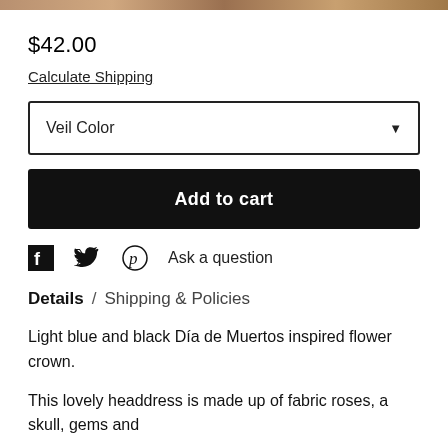[Figure (photo): Partial product image at top of page, cropped]
$42.00
Calculate Shipping
Veil Color
Add to cart
Ask a question
Details  /  Shipping & Policies
Light blue and black Día de Muertos inspired flower crown.
This lovely headdress is made up of fabric roses, a skull, gems and